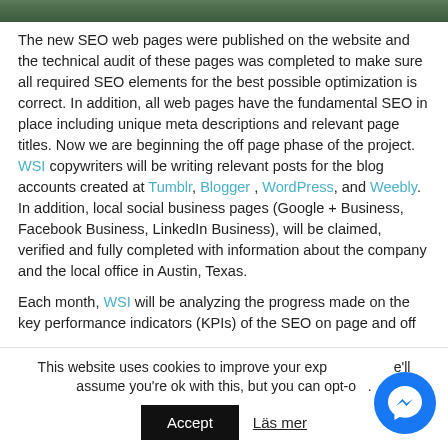[Figure (photo): Partial image strip at top, appears to be an outdoor scene with green/dark tones.]
The new SEO web pages were published on the website and the technical audit of these pages was completed to make sure all required SEO elements for the best possible optimization is correct. In addition, all web pages have the fundamental SEO in place including unique meta descriptions and relevant page titles. Now we are beginning the off page phase of the project. WSI copywriters will be writing relevant posts for the blog accounts created at Tumblr, Blogger, WordPress, and Weebly. In addition, local social business pages (Google + Business, Facebook Business, LinkedIn Business), will be claimed, verified and fully completed with information about the company and the local office in Austin, Texas.
Each month, WSI will be analyzing the progress made on the key performance indicators (KPIs) of the SEO on page and off
This website uses cookies to improve your experience. We'll assume you're ok with this, but you can opt-out.
Accept  Läs mer